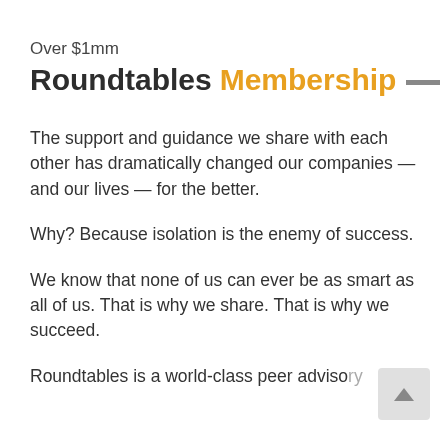Over $1mm
Roundtables Membership —
The support and guidance we share with each other has dramatically changed our companies — and our lives — for the better.
Why? Because isolation is the enemy of success.
We know that none of us can ever be as smart as all of us. That is why we share. That is why we succeed.
Roundtables is a world-class peer advisory program that brings together smart